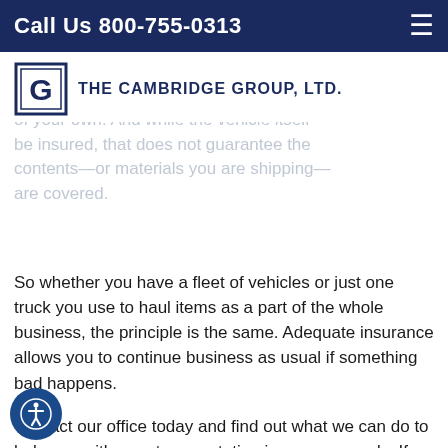Call Us 800-755-0313
[Figure (logo): The Cambridge Group, LTD. logo with a stylized G in a square frame]
of your own. And while the vehicle itself be insured, that does not guarantee the contents—or materials you are shipping—are covered.
So whether you have a fleet of vehicles or just one truck you use to haul items as a part of the whole business, the principle is the same. Adequate insurance allows you to continue business as usual if something bad happens.
Contact our office today and find out what we can do to help you with your transportation insurance needs. If you are an existing customer, we can review your policy to make sure you have complete coverage and your coverage is up to date. If you are a new customer, The Cambridge Group, LTD. can provide the transportation insurance